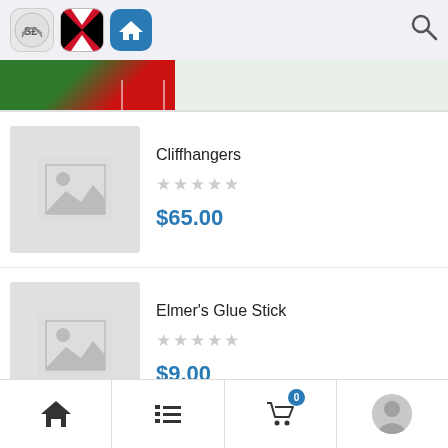App navigation bar with currency, flag, home icons and search
[Figure (screenshot): Partial product banner image with green and red colors]
Cliffhangers
★★★★★ (no rating)
$65.00
Elmer's Glue Stick
★★★★★ (no rating)
$9.00
Bottom navigation: home, list, cart (0), profile